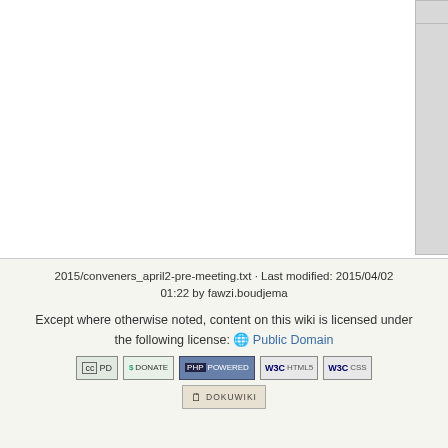[Figure (screenshot): File browser showing PDF file cards: weiler_bs... (2013/06/13 11:24, 16.5 MB), welcome... (2013/06/04 16:54, 10.8 MB), and a partially visible third card]
2015/conveners_april2-pre-meeting.txt · Last modified: 2015/04/02 01:22 by fawzi.boudjema
Except where otherwise noted, content on this wiki is licensed under the following license: 🌐 Public Domain
[Figure (other): Row of license and powered-by badges: CC PD, Donate, PHP Powered, WSC HTML5, WSC CSS, DokuWiki]